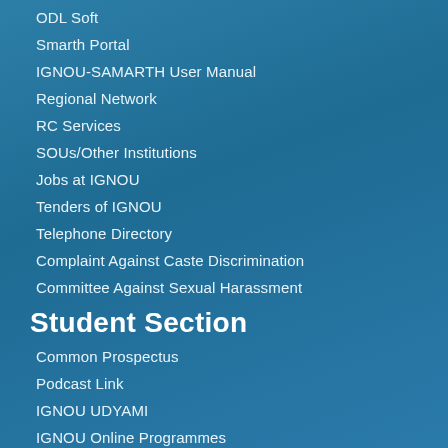ODL Soft
Smarth Portal
IGNOU-SAMARTH User Manual
Regional Network
RC Services
SOUs/Other Institutions
Jobs at IGNOU
Tenders of IGNOU
Telephone Directory
Complaint Against Caste Discrimination
Committee Against Sexual Harassment
Student Section
Common Prospectus
Podcast Link
IGNOU UDYAMI
IGNOU Online Programmes
Student Grievances
Study Material Status
Study Material Catalogue
Placement Assistance